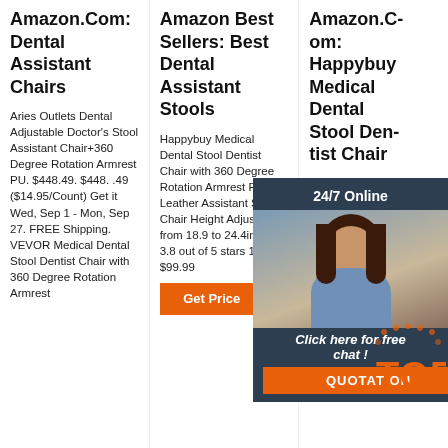Amazon.Com: Dental Assistant Chairs
Aries Outlets Dental Adjustable Doctor's Stool Assistant Chair+360 Degree Rotation Armrest PU. $448.49. $448. .49 ($14.95/Count) Get it Wed, Sep 1 - Mon, Sep 27. FREE Shipping. VEVOR Medical Dental Stool Dentist Chair with 360 Degree Rotation Armrest
Amazon Best Sellers: Best Dental Assistant Stools
Happybuy Medical Dental Stool Dentist Chair with 360 Degree Rotation Armrest PU Leather Assistant Stool Chair Height Adjustable from 18.9 to 24.4inches 3.8 out of 5 stars 17 $99.99
[Figure (other): Orange 'Get Price' button]
Amazon.Com: Happybuy Medical Dental Stool Dentist Chair
VEVOR Medical Dental Stool Dentist Chair with 360 Degree Rotation PU Leather Assistant Stool Chair Height Adjustable Doctor Chair 4.2 out of 5 stars 9 2 offers from $285.99
[Figure (screenshot): 24/7 Online chat overlay with female customer service agent, 'Click here for free chat!' text, and orange QUOTATION button]
[Figure (logo): Orange TOP badge with dot decorations]